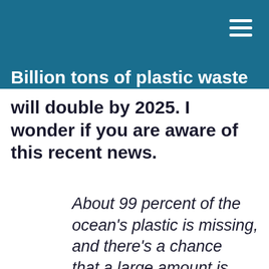Billion tons of plastic waste produced each year will double by 2025. I wonder if you are aware of this recent news.
About 99 percent of the ocean's plastic is missing, and there's a chance that a large amount is ending up on our dinner plates [eaten by the fish we eat]. Kristina Bravo, Asst. Editor, Takepart